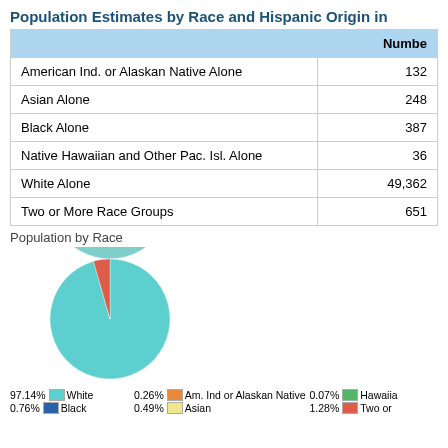Population Estimates by Race and Hispanic Origin in
|  | Number |
| --- | --- |
| American Ind. or Alaskan Native Alone | 132 |
| Asian Alone | 248 |
| Black Alone | 387 |
| Native Hawaiian and Other Pac. Isl. Alone | 36 |
| White Alone | 49,362 |
| Two or More Race Groups | 651 |
[Figure (pie-chart): Population by Race]